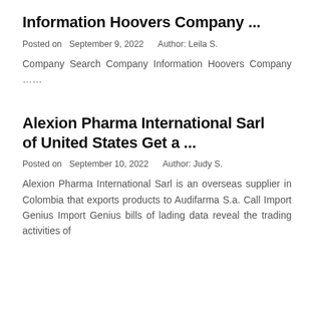Information Hoovers Company ...
Posted on  September 9, 2022    Author: Leila S.
Company Search Company Information Hoovers Company ......
Alexion Pharma International Sarl of United States Get a ...
Posted on  September 10, 2022    Author: Judy S.
Alexion Pharma International Sarl is an overseas supplier in Colombia that exports products to Audifarma S.a. Call Import Genius Import Genius bills of lading data reveal the trading activities of